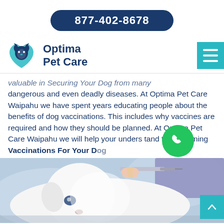877-402-8678
[Figure (logo): Optima Pet Care logo with dog and cat silhouette in blue wing/heart shape]
Optima Pet Care
...valuable in Securing Your Dog from many dangerous and even deadly diseases. At Optima Pet Care Waipahu we have spent years educating people about the benefits of dog vaccinations. This includes why vaccines are required and how they should be planned. At Optima Pet Care Waipahu we will help your understand the upcoming Vaccinations For Your Dog.
[Figure (photo): A white puppy/dog being given an injection by a veterinarian's hands, close-up shot.]